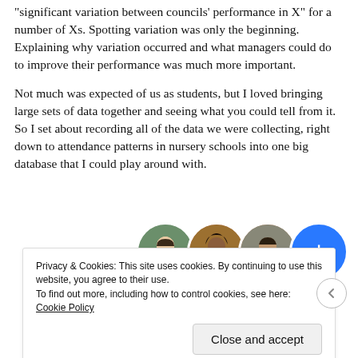“significant variation between councils’ performance in X” for a number of Xs. Spotting variation was only the beginning. Explaining why variation occurred and what managers could do to improve their performance was much more important.
Not much was expected of us as students, but I loved bringing large sets of data together and seeing what you could tell from it. So I set about recording all of the data we were collecting, right down to attendance patterns in nursery schools into one big database that I could play around with.
[Figure (photo): Three circular avatar photos of people and a blue circle with a plus sign, arranged in an overlapping row.]
Privacy & Cookies: This site uses cookies. By continuing to use this website, you agree to their use.
To find out more, including how to control cookies, see here: Cookie Policy

Close and accept